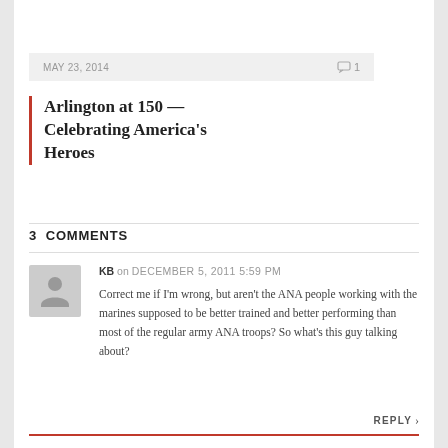MAY 23, 2014  1
Arlington at 150 — Celebrating America's Heroes
3 COMMENTS
KB on DECEMBER 5, 2011 5:59 PM
Correct me if I'm wrong, but aren't the ANA people working with the marines supposed to be better trained and better performing than most of the regular army ANA troops? So what's this guy talking about?
REPLY ›